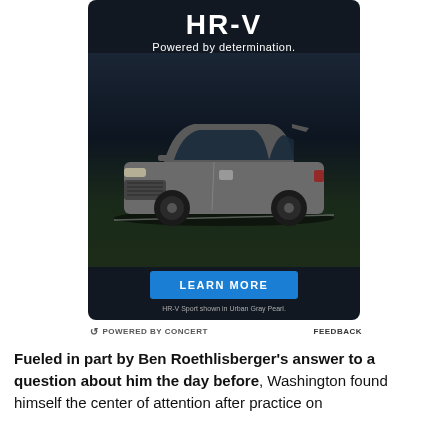[Figure (photo): Honda HR-V advertisement. Dark background with a gray Honda HR-V SUV on a nighttime road. Title reads 'HR-V Powered by determination.' Blue 'LEARN MORE' button. Footer text: 'HR-V Sport shown in Urban Gray Pearl.']
POWERED BY CONCERT   FEEDBACK
Fueled in part by Ben Roethlisberger's answer to a question about him the day before, Washington found himself the center of attention after practice on